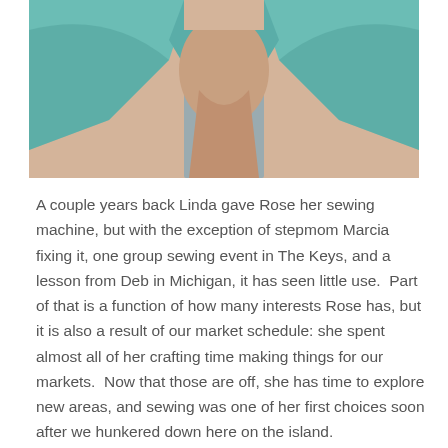[Figure (photo): Close-up photo of a person wearing a teal/turquoise draped top with a grey undershirt visible, cropped at neck/chest area, warm-toned skin.]
A couple years back Linda gave Rose her sewing machine, but with the exception of stepmom Marcia fixing it, one group sewing event in The Keys, and a lesson from Deb in Michigan, it has seen little use.  Part of that is a function of how many interests Rose has, but it is also a result of our market schedule: she spent almost all of her crafting time making things for our markets.  Now that those are off, she has time to explore new areas, and sewing was one of her first choices soon after we hunkered down here on the island.